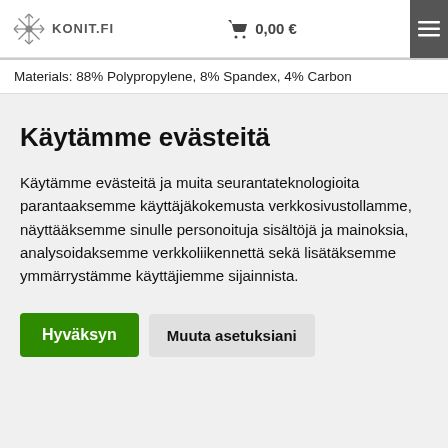KONIT.FI  0,00 €
Materials: 88% Polypropylene, 8% Spandex, 4% Carbon
Käytämme evästeitä
Käytämme evästeitä ja muita seurantateknologioita parantaaksemme käyttäjäkokemusta verkkosivustollamme, näyttääksemme sinulle personoituja sisältöjä ja mainoksia, analysoidaksemme verkkoliikennettä sekä lisätäksemme ymmärrystämme käyttäjiemme sijainnista.
Hyväksyn  Muuta asetuksiani